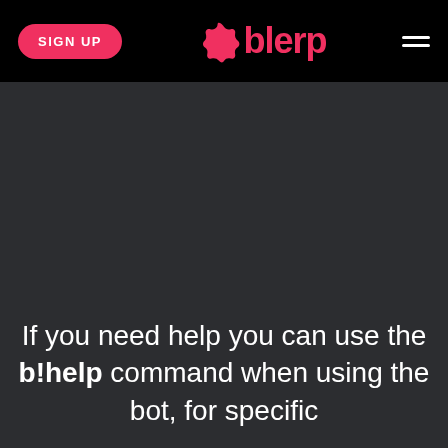[Figure (logo): Blerp website navigation bar with pink SIGN UP button on the left, pink Blerp star logo and wordmark in the center, and white hamburger menu icon on the right, all on a black background.]
If you need help you can use the b!help command when using the bot, for specific